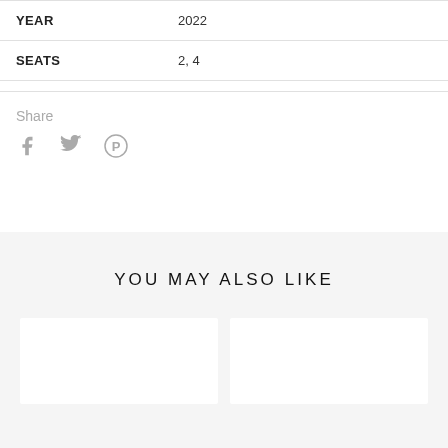|  |  |
| --- | --- |
| YEAR | 2022 |
| SEATS | 2, 4 |
Share
[Figure (other): Social share icons: Facebook (f), Twitter (bird), Pinterest (P circle)]
YOU MAY ALSO LIKE
[Figure (other): Two white product card placeholders side by side on grey background]